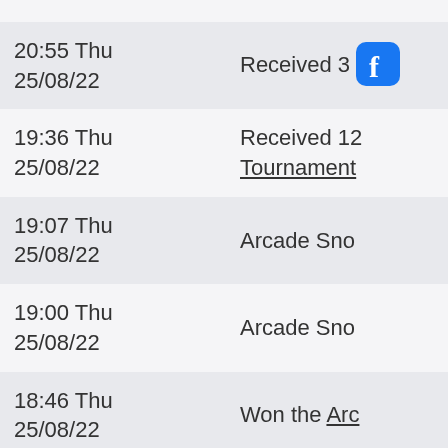| Time | Event |
| --- | --- |
| 20:55 Thu 25/08/22 | Received 3 [truncated] |
| 19:36 Thu 25/08/22 | Received 12 Tournament [truncated] |
| 19:07 Thu 25/08/22 | Arcade Sno[truncated] |
| 19:00 Thu 25/08/22 | Arcade Sno[truncated] |
| 18:46 Thu 25/08/22 | Won the Arc[truncated] |
| 18:40 Thu 25/08/22 | Arcade Sno[truncated] |
| 18:31 Thu 25/08/22 | Arcade Sno[truncated] |
| 18:04 Thu 25/08/22 | Arcade Sno[truncated] |